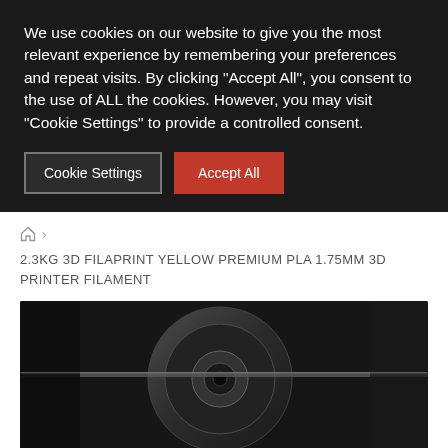We use cookies on our website to give you the most relevant experience by remembering your preferences and repeat visits. By clicking "Accept All", you consent to the use of ALL the cookies. However, you may visit "Cookie Settings" to provide a controlled consent.
Cookie Settings | Accept All
2.3KG 3D FILAPRINT YELLOW PREMIUM PLA 1.75MM 3D PRINTER FILAMENT
[Figure (photo): Dark photograph of a 3D printer filament spool/reel, close-up showing the spool mechanism with filament, dark industrial background]